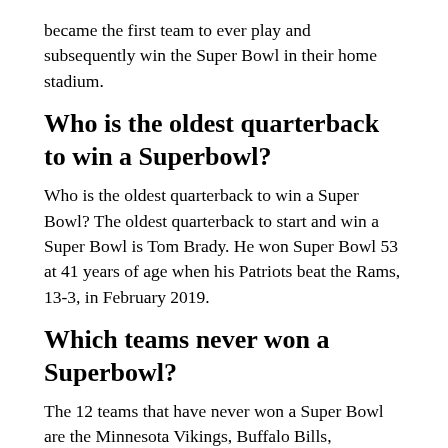became the first team to ever play and subsequently win the Super Bowl in their home stadium.
Who is the oldest quarterback to win a Superbowl?
Who is the oldest quarterback to win a Super Bowl? The oldest quarterback to start and win a Super Bowl is Tom Brady. He won Super Bowl 53 at 41 years of age when his Patriots beat the Rams, 13-3, in February 2019.
Which teams never won a Superbowl?
The 12 teams that have never won a Super Bowl are the Minnesota Vikings, Buffalo Bills, Cincinnati Bengals, Carolina Panthers, Atlanta Falcons, Los Angeles Chargers, Tennessee Titans, Arizona Cardinals, Cleveland Browns, Detroit Lions, Houston Texans, and